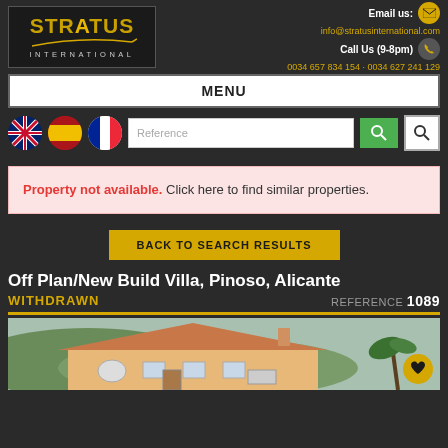[Figure (logo): Stratus International logo — gold text on dark background with arc graphic]
Email us:
info@stratusinternational.com
Call Us (9-8pm)
0034 657 834 154 · 0034 627 241 129
MENU
[Figure (illustration): UK flag, Spain flag, France flag circular icons; Reference search box; green search button; white search icon button]
Property not available. Click here to find similar properties.
BACK TO SEARCH RESULTS
Off Plan/New Build Villa, Pinoso, Alicante
WITHDRAWN                    REFERENCE 1089
[Figure (photo): Exterior photo of a yellow villa/house with terracotta roof tiles, set against a hilly landscape]